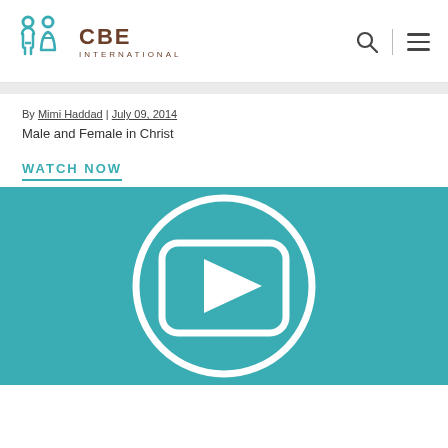[Figure (logo): CBE International logo with teal people icons and brown CBE INTERNATIONAL text]
By Mimi Haddad | July 09, 2014
Male and Female in Christ
WATCH NOW
[Figure (screenshot): Teal video thumbnail with a play button icon inside a rounded rectangle inside a circle]